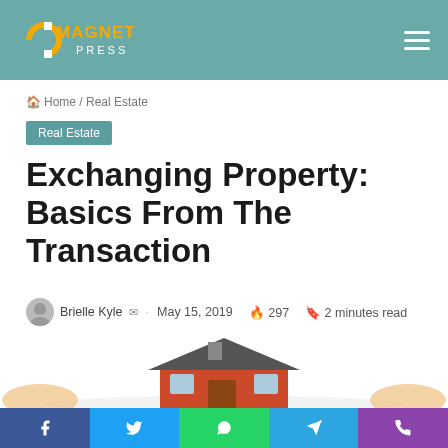Magnet Press
Home / Real Estate
Real Estate
Exchanging Property: Basics From The Transaction
Brielle Kyle · May 15, 2019 · 297 · 2 minutes read
[Figure (illustration): House illustration with hands, partially visible at bottom of page]
Social sharing buttons: Facebook, Twitter, WhatsApp, Telegram, Phone